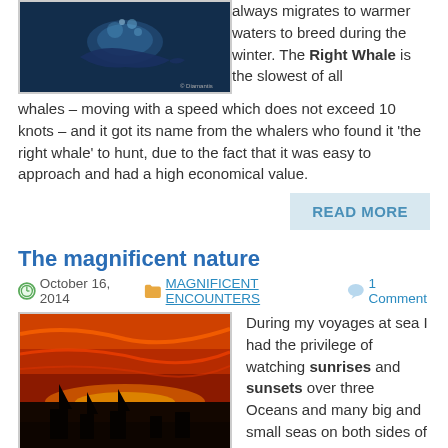[Figure (photo): Underwater photo of a whale in dark blue water]
always migrates to warmer waters to breed during the winter. The Right Whale is the slowest of all whales – moving with a speed which does not exceed 10 knots – and it got its name from the whalers who found it 'the right whale' to hunt, due to the fact that it was easy to approach and had a high economical value.
READ MORE
The magnificent nature
October 16, 2014   MAGNIFICENT ENCOUNTERS   1 Comment
[Figure (photo): Dramatic sunset photo over the sea with red and orange sky and silhouettes of boats]
During my voyages at sea I had the privilege of watching sunrises and sunsets over three Oceans and many big and small seas on both sides of the Equator. I know that for many people the sun always sets down in the same way and in the same place (with small changes due the seasons) but sunset is always different at sea. The more clouds are involved in the event, the more beautiful the picture is and if the luck brings some more 'characters'